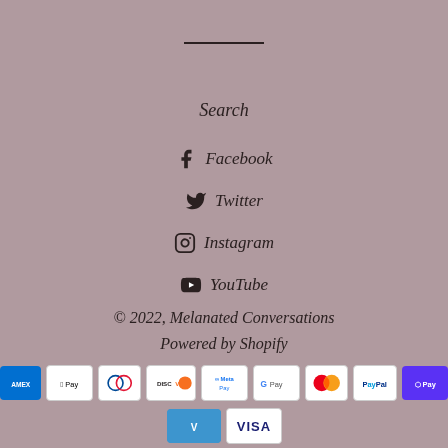[Figure (other): Horizontal divider line]
Search
f Facebook
Twitter
Instagram
YouTube
© 2022, Melanated Conversations
Powered by Shopify
[Figure (other): Payment method icons: American Express, Apple Pay, Diners Club, Discover, Meta Pay, Google Pay, Mastercard, PayPal, Shop Pay, Venmo, Visa]